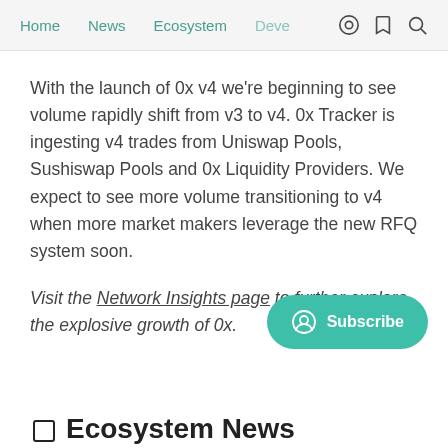Home  News  Ecosystem  Deve
With the launch of 0x v4 we're beginning to see volume rapidly shift from v3 to v4. 0x Tracker is ingesting v4 trades from Uniswap Pools, Sushiswap Pools and 0x Liquidity Providers. We expect to see more volume transitioning to v4 when more market makers leverage the new RFQ system soon.
Visit the Network Insights page to further explore the explosive growth of 0x.
Ecosystem News